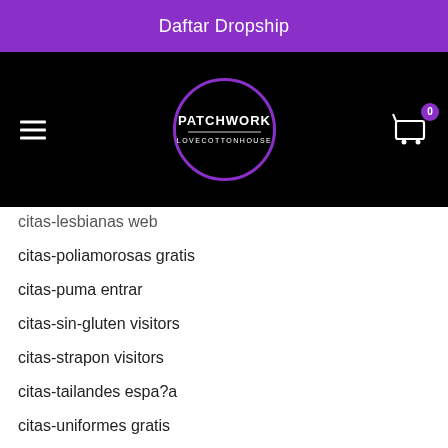Daftar Dropship
[Figure (logo): Patchwork Lovecottonhouse logo — circular purple-outlined badge with text PATCHWORK LOVECOTTONHOUSE on black background navigation bar]
citas-lesbianas web
citas-poliamorosas gratis
citas-puma entrar
citas-sin-gluten visitors
citas-strapon visitors
citas-tailandes espa?a
citas-uniformes gratis
clarity services payday loans